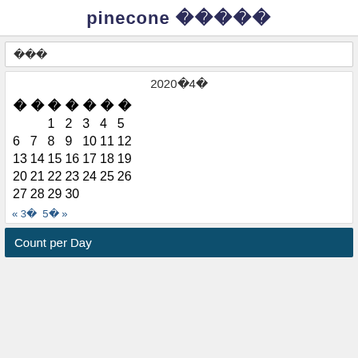pinecone󾓭󾓭󾓭󾓭󾓭
󾓭󾓭󾓭
| 󾓭 | 󾓭 | 󾓭 | 󾓭 | 󾓭 | 󾓭 | 󾓭 |
| --- | --- | --- | --- | --- | --- | --- |
|  |  | 1 | 2 | 3 | 4 | 5 |
| 6 | 7 | 8 | 9 | 10 | 11 | 12 |
| 13 | 14 | 15 | 16 | 17 | 18 | 19 |
| 20 | 21 | 22 | 23 | 24 | 25 | 26 |
| 27 | 28 | 29 | 30 |  |  |  |
« 3󾓭  5󾓭 »
Count per Day